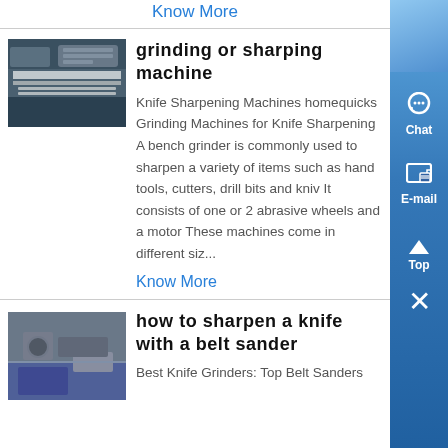Know More
grinding or sharping machine
[Figure (photo): Photo of a grinding or sharpening machine]
Knife Sharpening Machines homequicks Grinding Machines for Knife Sharpening A bench grinder is commonly used to sharpen a variety of items such as hand tools, cutters, drill bits and kniv It consists of one or 2 abrasive wheels and a motor These machines come in different siz...
Know More
how to sharpen a knife with a belt sander
[Figure (photo): Photo related to sharpening a knife with a belt sander]
Best Knife Grinders: Top Belt Sanders